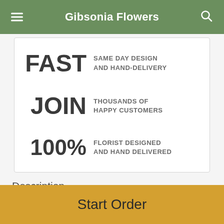Gibsonia Flowers
[Figure (infographic): Marketing info card with three rows: FAST - SAME DAY DESIGN AND HAND-DELIVERY; JOIN - THOUSANDS OF HAPPY CUSTOMERS; 100% - FLORIST DESIGNED AND HAND DELIVERED]
Description
For the one who's a step above the rest, send a gift that never goes out of style. Shower them with infinite love any day of the year by giving them just because and the…
Start Order